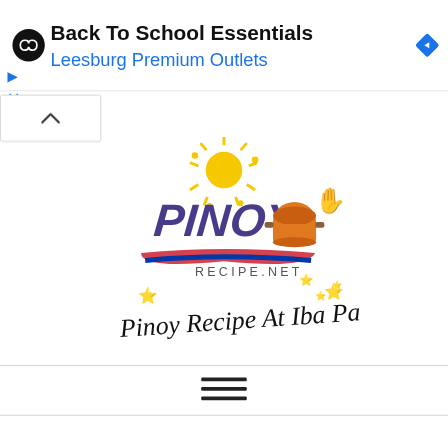[Figure (screenshot): Advertisement banner for 'Back To School Essentials' at Leesburg Premium Outlets, showing a black circular logo with infinity-like symbol, blue navigation arrow icon on the right, and ad control icons (play/close) on the left.]
[Figure (logo): Pinoy Recipe At Iba Pa logo — colorful illustration with sun, cooking pot, and script text reading 'Pinoy Recipe At Iba Pa' from pinoyrecipe.net]
[Figure (other): Hamburger menu icon (three horizontal lines)]